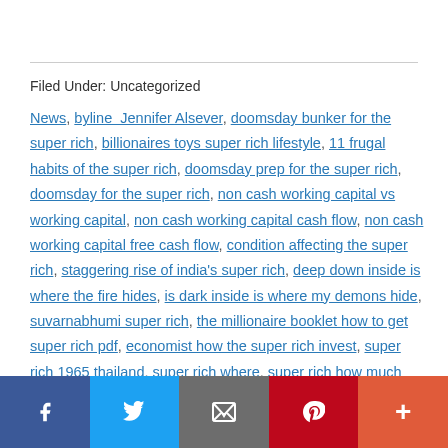Filed Under: Uncategorized
News, byline  Jennifer Alsever, doomsday bunker for the super rich, billionaires toys super rich lifestyle, 11 frugal habits of the super rich, doomsday prep for the super rich, doomsday for the super rich, non cash working capital vs working capital, non cash working capital cash flow, non cash working capital free cash flow, condition affecting the super rich, staggering rise of india's super rich, deep down inside is where the fire hides, is dark inside is where my demons hide, suvarnabhumi super rich, the millionaire booklet how to get super rich pdf, economist how the super rich invest, super rich 1965 thailand, super rich where, super rich how much money,
Social share bar: Facebook, Twitter, Email, Pinterest, Plus